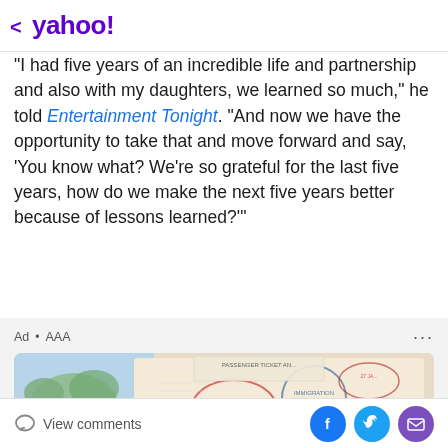< yahoo!
"I had five years of an incredible life and partnership and also with my daughters, we learned so much," he told Entertainment Tonight. "And now we have the opportunity to take that and move forward and say, 'You know what? We're so grateful for the last five years, how do we make the next five years better because of lessons learned?'"
[Figure (photo): Advertisement banner labeled 'Ad • AAA' with image of open passport pages showing various visa stamps and entry/exit stamps from different countries, alongside a world map and what appears to be a camera or electronic device.]
View comments